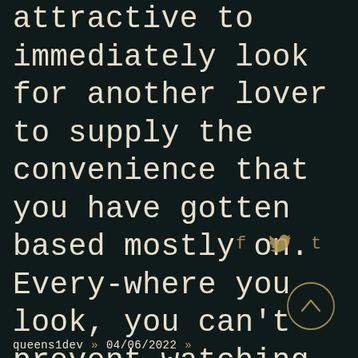attractive to immediately look for another lover to supply the convenience that you have gotten based mostly on. Every-where you look, you can't prevent watching the globe through the lens of interactions. The thing is partners within playground enjoying each other individuals' presence. You ...
[Figure (infographic): Social share icons: Facebook (f), Twitter (bird), Tumblr (t) in golden color on dark background]
[Figure (other): Scroll-to-top button: circle with upward chevron arrow in golden/tan outline on dark background]
queens1dev » 04/06/2022 »